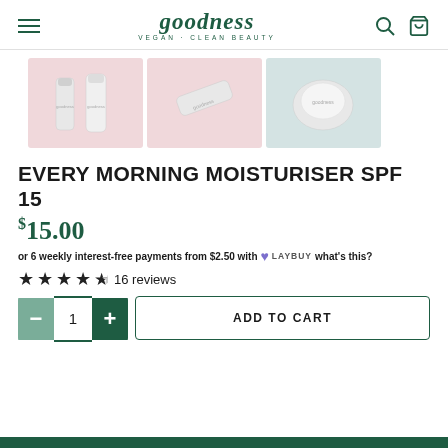goodness VEGAN · CLEAN BEAUTY
[Figure (photo): Three product thumbnail images of the Every Morning Moisturiser SPF 15: first on pink background showing two product tubes, second on pink background showing product from above, third on light blue/grey background showing product]
EVERY MORNING MOISTURISER SPF 15
$15.00
or 6 weekly interest-free payments from $2.50 with LAYBUY what's this?
★★★★½ 16 reviews
− 1 + ADD TO CART